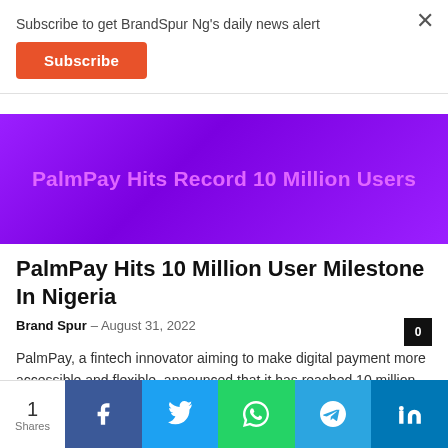Subscribe to get BrandSpur Ng's daily news alert
Subscribe
[Figure (illustration): Purple banner image with text 'PalmPay Hits Record 10 Million Users' in pink/light purple letters on a vivid purple gradient background]
PalmPay Hits 10 Million User Milestone In Nigeria
Brand Spur – August 31, 2022
PalmPay, a fintech innovator aiming to make digital payment more accessible and flexible, announced that it has reached 10 million users in Nigeria. This...
1 Shares